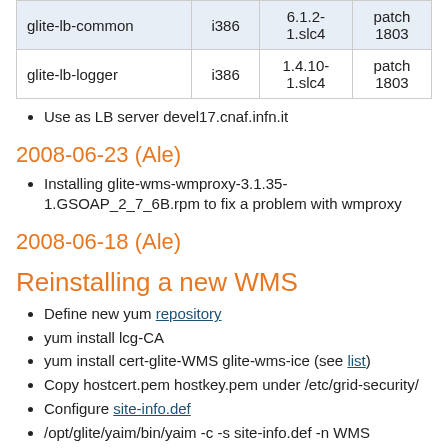|  |  |  |  |
| --- | --- | --- | --- |
| glite-lb-common | i386 | 6.1.2-1.slc4 | patch 1803 |
| glite-lb-logger | i386 | 1.4.10-1.slc4 | patch 1803 |
Use as LB server devel17.cnaf.infn.it
2008-06-23 (Ale)
Installing glite-wms-wmproxy-3.1.35-1.GSOAP_2_7_6B.rpm to fix a problem with wmproxy
2008-06-18 (Ale)
Reinstalling a new WMS
Define new yum repository
yum install lcg-CA
yum install cert-glite-WMS glite-wms-ice (see list)
Copy hostcert.pem hostkey.pem under /etc/grid-security/
Configure site-info.def
/opt/glite/yaim/bin/yaim -c -s site-info.def -n WMS
Installed google-perftools-0.98-1.i386.rpm google-perftools-devel-0.98-1.i386.rpm to decrease the wm's use